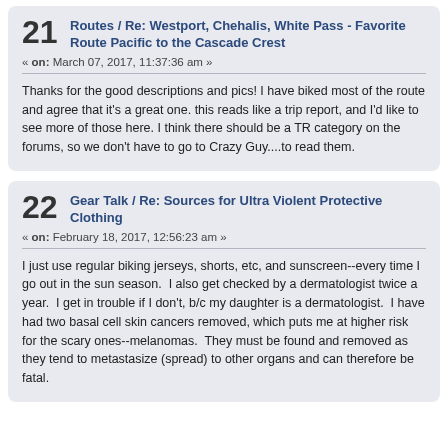21 Routes / Re: Westport, Chehalis, White Pass - Favorite Route Pacific to the Cascade Crest
« on: March 07, 2017, 11:37:36 am »
Thanks for the good descriptions and pics! I have biked most of the route and agree that it's a great one. this reads like a trip report, and I'd like to see more of those here. I think there should be a TR category on the forums, so we don't have to go to Crazy Guy....to read them.
22 Gear Talk / Re: Sources for Ultra Violent Protective Clothing
« on: February 18, 2017, 12:56:23 am »
I just use regular biking jerseys, shorts, etc, and sunscreen--every time I go out in the sun season.  I also get checked by a dermatologist twice a year.  I get in trouble if I don't, b/c my daughter is a dermatologist.  I have had two basal cell skin cancers removed, which puts me at higher risk for the scary ones--melanomas.  They must be found and removed as they tend to metastasize (spread) to other organs and can therefore be fatal.